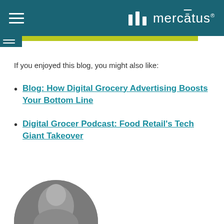mercātus
If you enjoyed this blog, you might also like:
Blog: How Digital Grocery Advertising Boosts Your Bottom Line
Digital Grocer Podcast: Food Retail's Tech Giant Takeover
[Figure (photo): Partial photo of a person's head/shoulders at the bottom of the page]